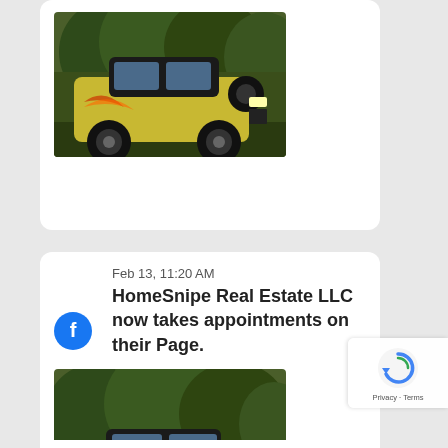[Figure (photo): Yellow and black off-road vehicle (Hummer-style) parked outdoors with trees in background - top card]
Feb 13, 11:20 AM
HomeSnipe Real Estate LLC now takes appointments on their Page.
[Figure (photo): Yellow and black off-road vehicle (Hummer-style) parked outdoors with trees in background - mid card]
Jan 16, 8:30 PM